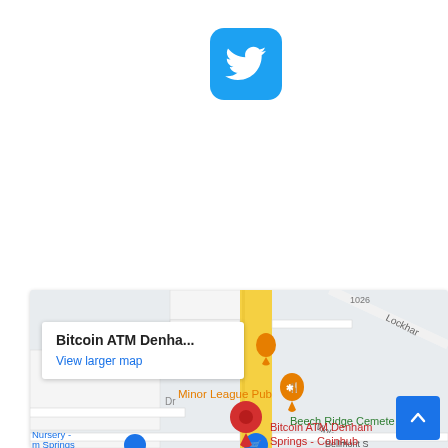[Figure (logo): Twitter bird logo icon, white bird on blue rounded square background]
[Figure (map): Google Maps embed showing Bitcoin ATM Denham Springs - Coinhub location. Map shows Minor League Pub, Beech Ridge Cemetery, Ron's Seafood Market, Nursery - Springs. Red pin marker on Bitcoin ATM Denham Springs - Coinhub. Street labels include Lockhar, Violet St, Bellmont St. Yellow road runs vertically through map center.]
Bitcoin ATM Denha...
View larger map